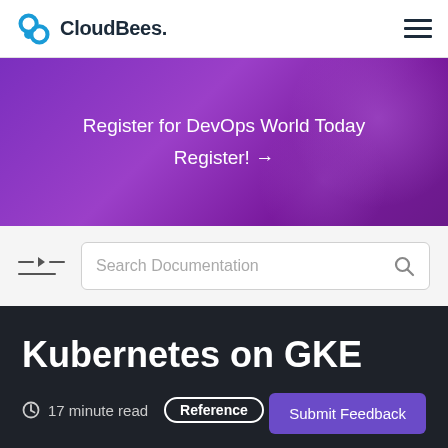CloudBees.
[Figure (logo): CloudBees logo with blue interlocking circles and company name]
Register for DevOps World Today
Register! →
[Figure (screenshot): Search Documentation input box with search icon]
Kubernetes on GKE
17 minute read  Reference  Submit Feedback